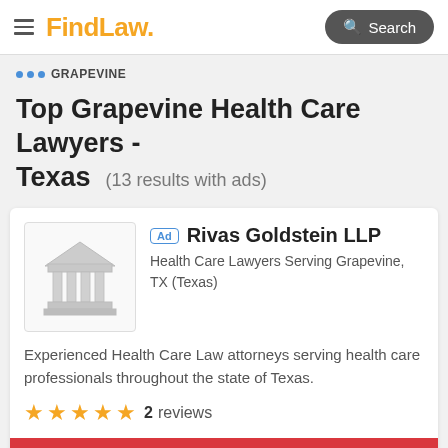FindLaw — Search
GRAPEVINE
Top Grapevine Health Care Lawyers - Texas (13 results with ads)
Ad  Rivas Goldstein LLP
Health Care Lawyers Serving Grapevine, TX (Texas)
Experienced Health Care Law attorneys serving health care professionals throughout the state of Texas.
★★★★★  2  reviews